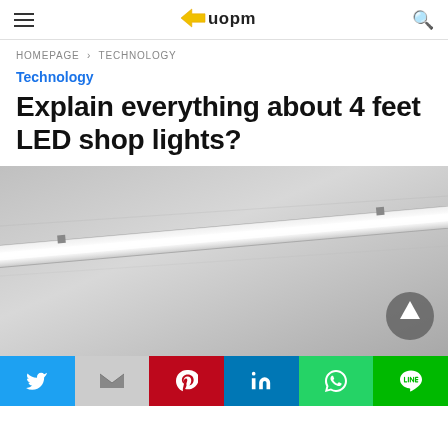LUOPM - hamburger menu, logo, search icon
HOMEPAGE › TECHNOLOGY
Technology
Explain everything about 4 feet LED shop lights?
[Figure (photo): Photo of a 4 feet LED shop light tube mounted on a ceiling, glowing white, viewed at an angle]
Social share bar: Twitter, Gmail, Pinterest, LinkedIn, WhatsApp, LINE